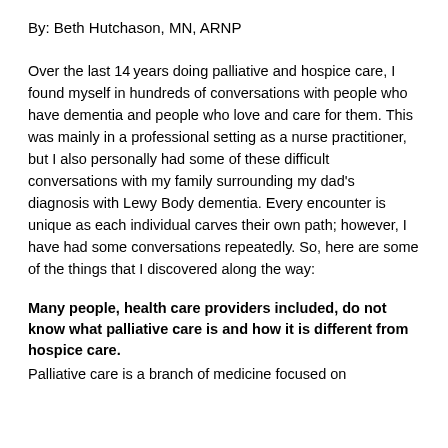By: Beth Hutchason, MN, ARNP
Over the last 14 years doing palliative and hospice care, I found myself in hundreds of conversations with people who have dementia and people who love and care for them. This was mainly in a professional setting as a nurse practitioner, but I also personally had some of these difficult conversations with my family surrounding my dad's diagnosis with Lewy Body dementia. Every encounter is unique as each individual carves their own path; however, I have had some conversations repeatedly. So, here are some of the things that I discovered along the way:
Many people, health care providers included, do not know what palliative care is and how it is different from hospice care.
Palliative care is a branch of medicine focused on